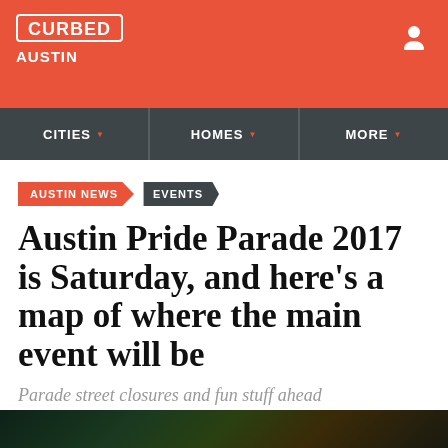CURBED AUSTIN
CITIES | HOMES | MORE
AUSTIN NEWS | EVENTS
Austin Pride Parade 2017 is Saturday, and here's a map of where the main event will be
Parade street closures and fun stuff ahead
By Cindy Widner | @CurbedAustin | Sep 28, 2017, 4:59pm CDT